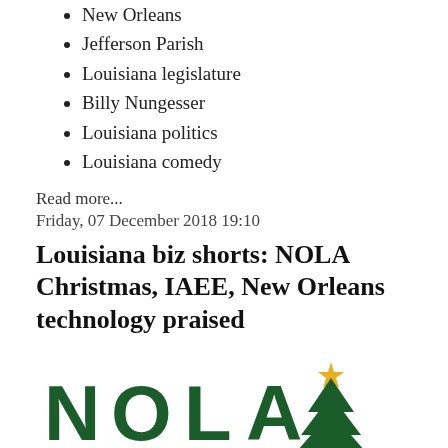New Orleans
Jefferson Parish
Louisiana legislature
Billy Nungesser
Louisiana politics
Louisiana comedy
Read more...
Friday, 07 December 2018 19:10
Louisiana biz shorts: NOLA Christmas, IAEE, New Orleans technology praised
[Figure (logo): NOLA ChristmasFest logo with Christmas tree, December 20-31 2018, New Orleans]